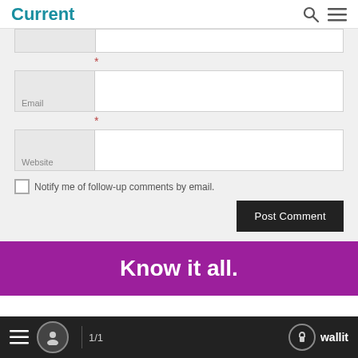Current
[Figure (screenshot): Partial form field row cropped at top of content area]
*
Email *
*
Website
Notify me of follow-up comments by email.
Post Comment
Know it all.
1/1  wallit